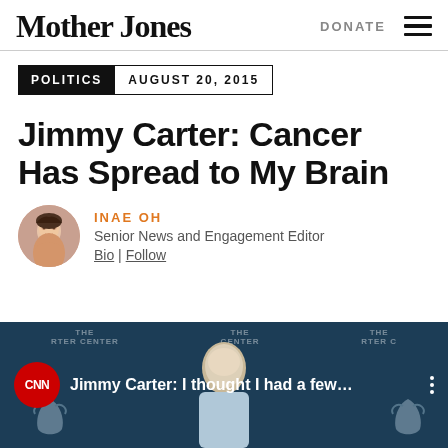Mother Jones
DONATE
POLITICS  AUGUST 20, 2015
Jimmy Carter: Cancer Has Spread to My Brain
INAE OH
Senior News and Engagement Editor
Bio | Follow
[Figure (screenshot): CNN video thumbnail showing Jimmy Carter with text 'Jimmy Carter: I thought I had a few...' and Carter Center banners in background]